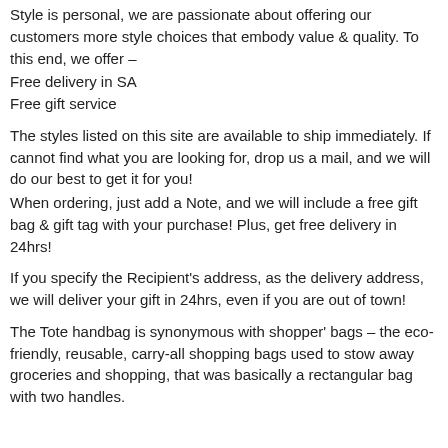Style is personal, we are passionate about offering our customers more style choices that embody value & quality. To this end, we offer –
Free delivery in SA
Free gift service
The styles listed on this site are available to ship immediately. If cannot find what you are looking for, drop us a mail, and we will do our best to get it for you!
When ordering, just add a Note, and we will include a free gift bag & gift tag with your purchase! Plus, get free delivery in 24hrs!
If you specify the Recipient's address, as the delivery address, we will deliver your gift in 24hrs, even if you are out of town!
The Tote handbag is synonymous with shopper' bags – the eco-friendly, reusable, carry-all shopping bags used to stow away groceries and shopping, that was basically a rectangular bag with two handles.